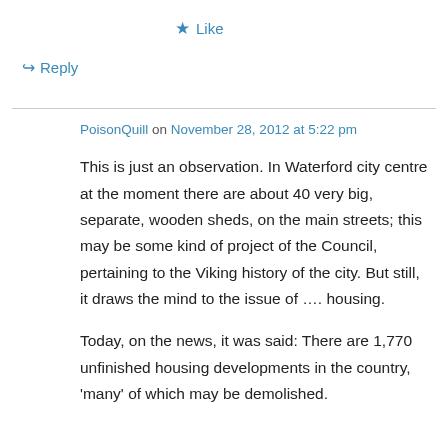★ Like
↳ Reply
PoisonQuill on November 28, 2012 at 5:22 pm
This is just an observation. In Waterford city centre at the moment there are about 40 very big, separate, wooden sheds, on the main streets; this may be some kind of project of the Council, pertaining to the Viking history of the city. But still, it draws the mind to the issue of …. housing.
Today, on the news, it was said: There are 1,770 unfinished housing developments in the country, 'many' of which may be demolished.